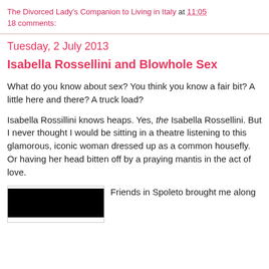The Divorced Lady's Companion to Living in Italy at 11:05
18 comments:
Tuesday, 2 July 2013
Isabella Rossellini and Blowhole Sex
What do you know about sex? You think you know a fair bit? A little here and there? A truck load?
Isabella Rossillini knows heaps. Yes, the Isabella Rossellini. But I never thought I would be sitting in a theatre listening to this glamorous, iconic woman dressed up as a common housefly. Or having her head bitten off by a praying mantis in the act of love.
[Figure (photo): Black image placeholder]
Friends in Spoleto brought me along